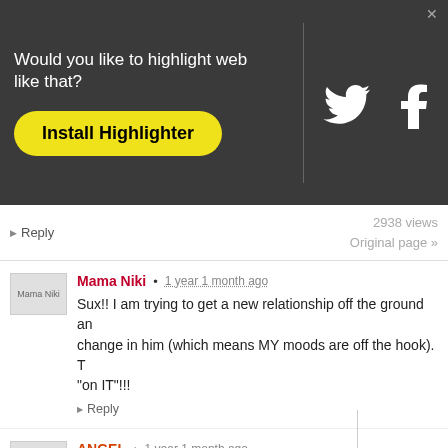[Figure (screenshot): Dark banner overlay with text 'Would you like to highlight web like that?', a yellow 'Install Highlighter' button, a vertical divider, and Twitter and Facebook icons. An X close button is in the top right corner.]
Reply
2938 views
Original page »
Mama Niki • 1 year 1 month ago
Sux!! I am trying to get a new relationship off the ground and change in him (which means MY moods are off the hook). "on IT"!!!
Reply
ANGEL • 1 year 1 month ago
Every one has comment on this low sex drive in winter but i th around. Sometimes it is what ever each person likes feels .I gu do you think.a count of each month of the seasons
Reply
H. • 1 year 1 month ago